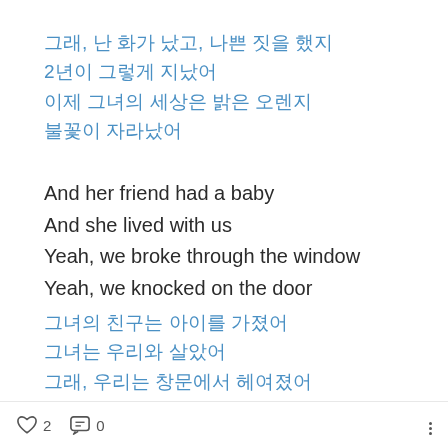그래, 난 화가 났고, 나쁜 짓을 했지
2년이 그렇게 지났어
이제 그녀의 세상은 밝은 오렌지
불꽃이 자라났어
And her friend had a baby
And she lived with us
Yeah, we broke through the window
Yeah, we knocked on the door
그녀의 친구는 아이를 가졌어
그녀는 우리와 살았어
그래, 우리는 창문에서 헤여졌어
그래, 우리는 문을 두드렸어
♡ 2   💬 0   ⋮